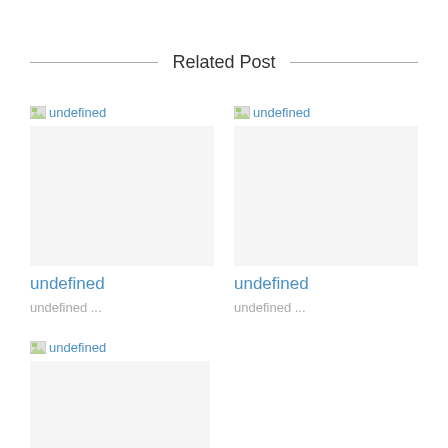Related Post
[Figure (photo): Broken image placeholder (undefined) - top left post]
[Figure (photo): Broken image placeholder (undefined) - top right post]
undefined
undefined ...
undefined
undefined ...
[Figure (photo): Broken image placeholder (undefined) - bottom left post]
undefined
undefined ...